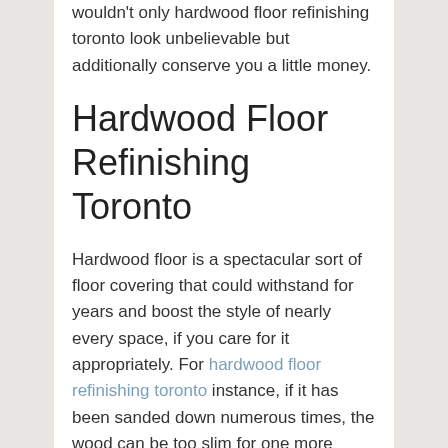wouldn't only hardwood floor refinishing toronto look unbelievable but additionally conserve you a little money.
Hardwood Floor Refinishing Toronto
Hardwood floor is a spectacular sort of floor covering that could withstand for years and boost the style of nearly every space, if you care for it appropriately. For hardwood floor refinishing toronto instance, if it has been sanded down numerous times, the wood can be too slim for one more redecorating and will certainly need to be replaced. In front of a wood floor can